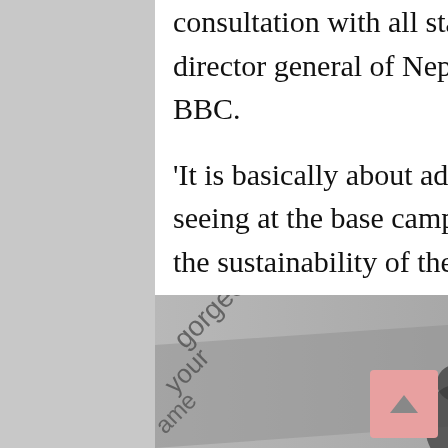consultation with all stakeholders, Taranath Adhikari, director general of Nepal's tourism department, told the BBC.
'It is basically about adapting to the changes we are seeing at the base camp and it has become essential for the sustainability of the mountaineering business itself.'
[Figure (photo): Grayscale photograph showing what appears to be a newspaper or magazine page with decorative floral/snowflake patterns, text reading 'gorgeous', 'your', 'ame', and partial text 'uard' visible, with a person silhouetted in the foreground.]